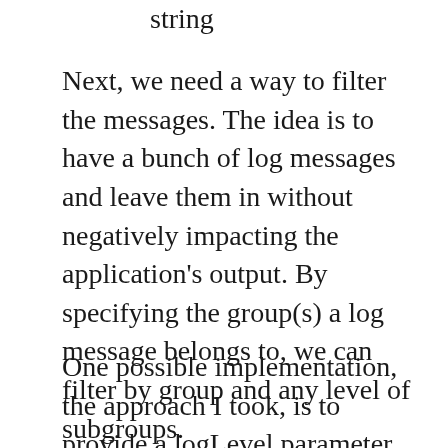string
Next, we need a way to filter the messages. The idea is to have a bunch of log messages and leave them in without negatively impacting the application's output. By specifying the group(s) a log message belongs to, we can filter by group and any level of subgroups.
One possible implementation, the approach I took, is to provide a logLevel parameter which is takes in